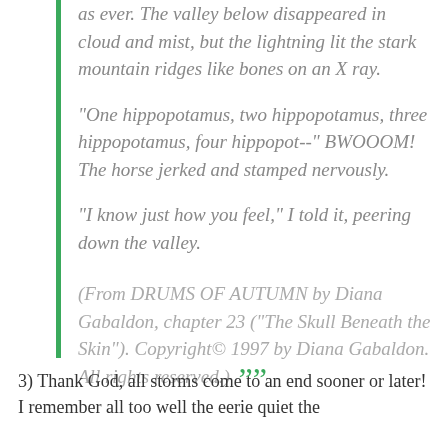as ever.  The valley below disappeared in cloud and mist, but the lightning lit the stark mountain ridges like bones on an X ray.

"One hippopotamus, two hippopotamus, three hippopotamus, four hippopot--" BWOOOM! The horse jerked and stamped nervously.

"I know just how you feel," I told it, peering down the valley.
(From DRUMS OF AUTUMN by Diana Gabaldon, chapter 23 ("The Skull Beneath the Skin"). Copyright© 1997 by Diana Gabaldon. All rights reserved.) ””
3) Thank God, all storms come to an end sooner or later! I remember all too well the eerie quiet the